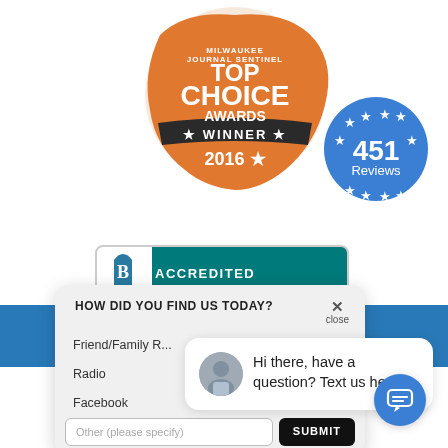[Figure (logo): Milwaukee Journal Sentinel Top Choice Awards Winner 2016 badge in orange with dark banner saying WINNER and star]
[Figure (logo): Blue circular badge with stars and text '451 Reviews']
[Figure (logo): BBB Accredited Business banner in teal/white]
[Figure (screenshot): Survey popup asking 'HOW DID YOU FIND US TODAY?' with options Friend/Family R..., Radio, Facebook, and an Other input with SUBMIT button]
[Figure (screenshot): Chat widget bubble with avatar saying 'Hi there, have a question? Text us here.']
[Figure (infographic): Blue circular chat button in bottom right corner]